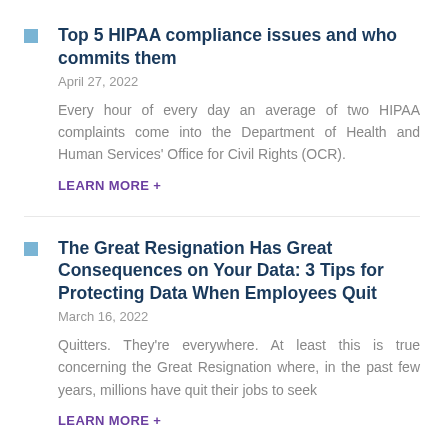Top 5 HIPAA compliance issues and who commits them
April 27, 2022
Every hour of every day an average of two HIPAA complaints come into the Department of Health and Human Services' Office for Civil Rights (OCR).
LEARN MORE +
The Great Resignation Has Great Consequences on Your Data: 3 Tips for Protecting Data When Employees Quit
March 16, 2022
Quitters. They're everywhere. At least this is true concerning the Great Resignation where, in the past few years, millions have quit their jobs to seek
LEARN MORE +